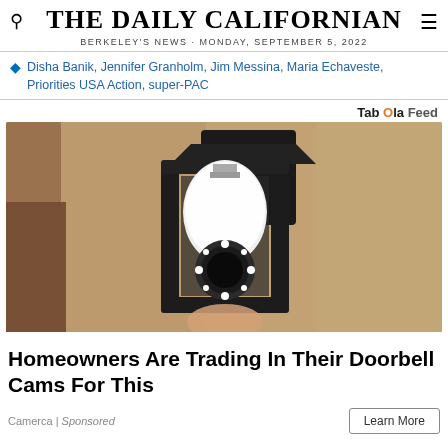THE DAILY CALIFORNIAN
BERKELEY'S NEWS · MONDAY, SEPTEMBER 5, 2022
Disha Banik, Jennifer Granholm, Jim Messina, Maria Echaveste, Priorities USA Action, super-PAC
Taboola Feed
[Figure (photo): A security camera shaped like a light bulb installed in an outdoor lantern-style wall fixture on a textured stucco wall.]
Homeowners Are Trading In Their Doorbell Cams For This
Camerca | Sponsored
Learn More